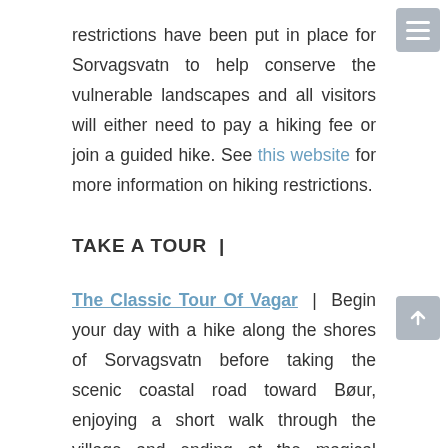restrictions have been put in place for Sorvagsvatn to help conserve the vulnerable landscapes and all visitors will either need to pay a hiking fee or join a guided hike. See this website for more information on hiking restrictions.
TAKE A TOUR |
The Classic Tour Of Vagar | Begin your day with a hike along the shores of Sorvagsvatn before taking the scenic coastal road toward Bøur, enjoying a short walk through the village and ending at the magical Mulafossur.